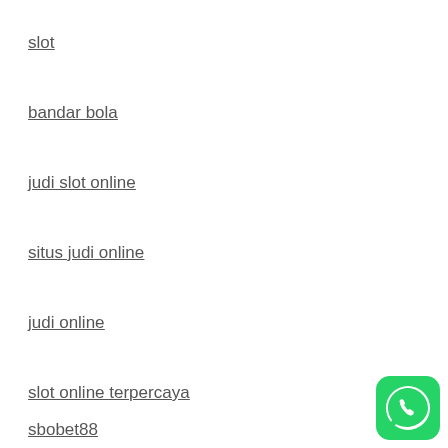slot
bandar bola
judi slot online
situs judi online
judi online
slot online terpercaya
sbobet88
[Figure (logo): WhatsApp green logo button in bottom right corner]